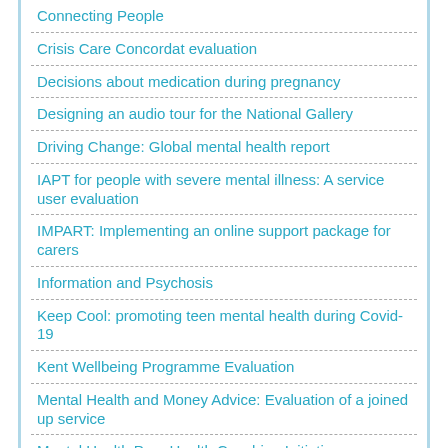Connecting People
Crisis Care Concordat evaluation
Decisions about medication during pregnancy
Designing an audio tour for the National Gallery
Driving Change: Global mental health report
IAPT for people with severe mental illness: A service user evaluation
IMPART: Implementing an online support package for carers
Information and Psychosis
Keep Cool: promoting teen mental health during Covid-19
Kent Wellbeing Programme Evaluation
Mental Health and Money Advice: Evaluation of a joined up service
Mental Health Peer Health Coaching Initiative – Evaluation